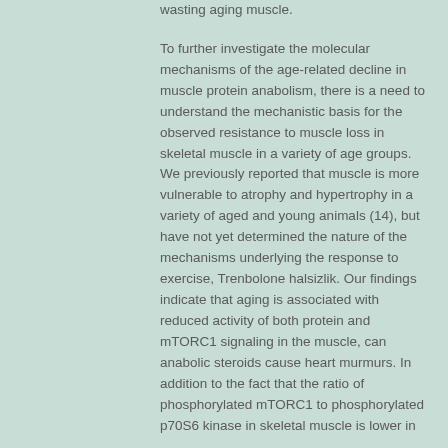wasting aging muscle. To further investigate the molecular mechanisms of the age-related decline in muscle protein anabolism, there is a need to understand the mechanistic basis for the observed resistance to muscle loss in skeletal muscle in a variety of age groups. We previously reported that muscle is more vulnerable to atrophy and hypertrophy in a variety of aged and young animals (14), but have not yet determined the nature of the mechanisms underlying the response to exercise, Trenbolone halsizlik. Our findings indicate that aging is associated with reduced activity of both protein and mTORC1 signaling in the muscle, can anabolic steroids cause heart murmurs. In addition to the fact that the ratio of phosphorylated mTORC1 to phosphorylated p70S6 kinase in skeletal muscle is lower in